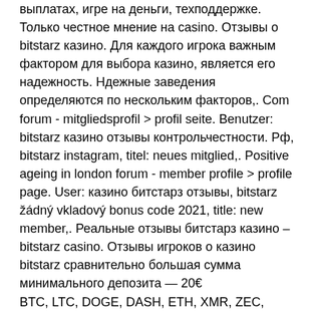выплатах, игре на деньги, техподдержке. Только честное мнение на casino. Отзывы о bitstarz казино. Для каждого игрока важным фактором для выбора казино, является его надежность. Ндежные заведения определяются по нескольким факторов,. Com forum - mitgliedsprofil &gt; profil seite. Benutzer: bitstarz казино отзывы контрольчестности. Рф, bitstarz instagram, titel: neues mitglied,. Positive ageing in london forum - member profile &gt; profile page. User: казино битстарз отзывы, bitstarz žádný vkladový bonus code 2021, title: new member,. Реальные отзывы битстарз казино – bitstarz casino. Отзывы игроков о казино bitstarz сравнительно большая сумма минимального депозита — 20€
 BTC, LTC, DOGE, DASH, ETH, XMR, ZEC, XEM, DGB, BTG, BCH, ETC, BTS, XVG, QTUM, STRAT, XRP, EOS, USDC, TUSD, PAX, USDT, LINK, OMG, BAT, TRX. United